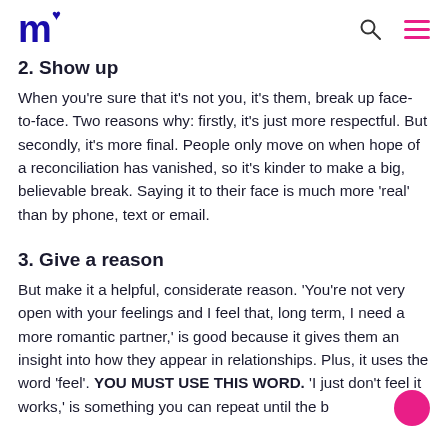m♥ [logo with search and menu icons]
2. Show up
When you're sure that it's not you, it's them, break up face-to-face. Two reasons why: firstly, it's just more respectful. But secondly, it's more final. People only move on when hope of a reconciliation has vanished, so it's kinder to make a big, believable break. Saying it to their face is much more 'real' than by phone, text or email.
3. Give a reason
But make it a helpful, considerate reason. 'You're not very open with your feelings and I feel that, long term, I need a more romantic partner,' is good because it gives them an insight into how they appear in relationships. Plus, it uses the word 'feel'. YOU MUST USE THIS WORD. 'I just don't feel it works,' is something you can repeat until the b